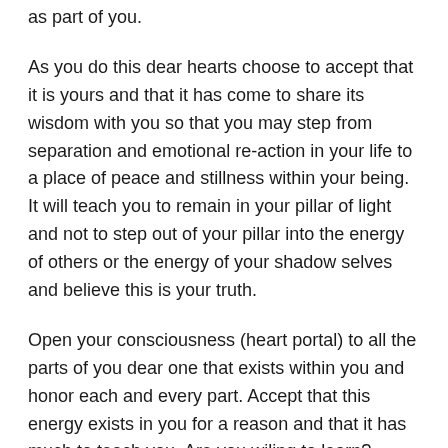as part of you.
As you do this dear hearts choose to accept that it is yours and that it has come to share its wisdom with you so that you may step from separation and emotional re-action in your life to a place of peace and stillness within your being. It will teach you to remain in your pillar of light and not to step out of your pillar into the energy of others or the energy of your shadow selves and believe this is your truth.
Open your consciousness (heart portal) to all the parts of you dear one that exists within you and honor each and every part. Accept that this energy exists in you for a reason and that it has much to teach you. Are you wiling to learn?
Then dear hearts embrace this part of you that holds